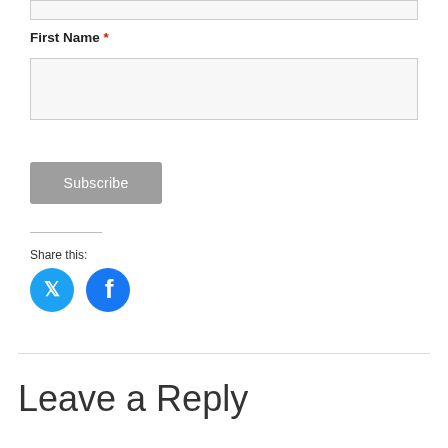First Name *
[Figure (screenshot): Empty text input field for First Name]
[Figure (screenshot): Subscribe button (gray rounded rectangle)]
Share this:
[Figure (infographic): Twitter and Facebook social share icon buttons (blue circles)]
Leave a Reply